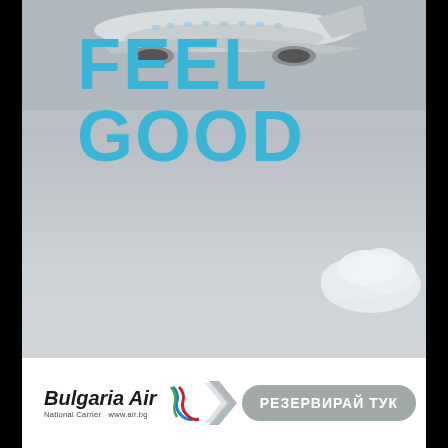[Figure (photo): Bulgaria Air advertisement showing an airplane viewed from below against a gray sky with clouds. Large cyan text reads FEEL GOOD. Bottom banner shows Bulgaria Air logo with National Carrier www.air.bg and a РЕЗЕРВИРАЙ ТУК (Book Here) button.]
FEEL GOOD
[Figure (logo): Bulgaria Air logo with italic bold text, National Carrier tagline, www.air.bg URL, and colorful wave/flag graphic]
РЕЗЕРВИРАЙ ТУК